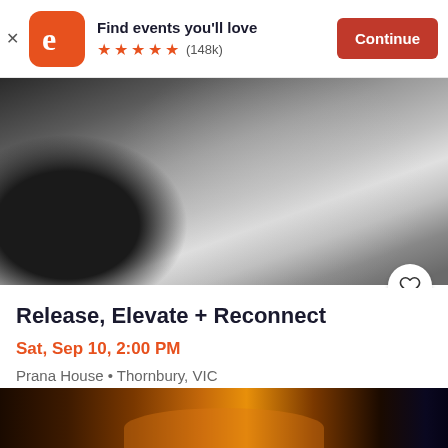[Figure (screenshot): Eventbrite app banner with orange logo, 'Find events you'll love', 5 orange stars, (148k) reviews, and a red 'Continue' button]
[Figure (photo): Black and white photo of a person receiving a healing/massage treatment, hand on chest area, close-up]
Release, Elevate + Reconnect
Sat, Sep 10, 2:00 PM
Prana House • Thornbury, VIC
$115
[Figure (photo): A night-time illuminated building/temple with warm orange and gold lighting against a dark blue sky]